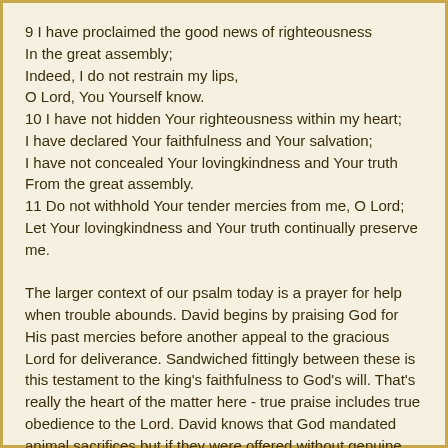9 I have proclaimed the good news of righteousness
In the great assembly;
Indeed, I do not restrain my lips,
O Lord, You Yourself know.
10 I have not hidden Your righteousness within my heart;
I have declared Your faithfulness and Your salvation;
I have not concealed Your lovingkindness and Your truth
From the great assembly.
11 Do not withhold Your tender mercies from me, O Lord;
Let Your lovingkindness and Your truth continually preserve
me.
The larger context of our psalm today is a prayer for help when trouble abounds. David begins by praising God for His past mercies before another appeal to the gracious Lord for deliverance. Sandwiched fittingly between these is this testament to the king's faithfulness to God's will. That's really the heart of the matter here - true praise includes true obedience to the Lord. David knows that God mandated animal sacrifices but if they were offered without genuine